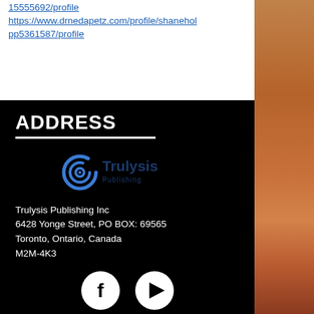15555692/profile https://www.drnedapetz.com/profile/shaneholpp5361587/profile
ADDRESS
[Figure (logo): Trulysis Publishing logo — a blue spiral/galaxy icon with 'Trulysis Publishing' text in blue]
Trulysis Publishing Inc
6428 Yonge Street, PO BOX: 69565
Toronto, Ontario, Canada
M2M-4K3
[Figure (other): Social media icons: Facebook (f) and YouTube (play button), white on dark circular backgrounds]
CONTACT US